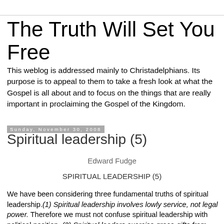The Truth Will Set You Free
This weblog is addressed mainly to Christadelphians. Its purpose is to appeal to them to take a fresh look at what the Gospel is all about and to focus on the things that are really important in proclaiming the Gospel of the Kingdom.
Sunday, November 30, 2008
Spiritual leadership (5)
Edward Fudge
SPIRITUAL LEADERSHIP (5)
We have been considering three fundamental truths of spiritual leadership.(1) Spiritual leadership involves lowly service, not legal power. Therefore we must not confuse spiritual leadership with political position. (2) Spiritual leaders exercise grace-gifts from God, not worldly qualifications.